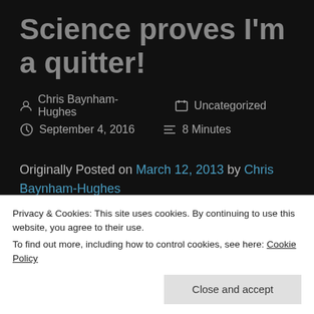Science proves I'm a quitter!
👤 Chris Baynham-Hughes   📁 Uncategorized   🕐 September 4, 2016   ≡ 8 Minutes
Originally Posted on March 12, 2013 by Chris Baynham-Hughes
Yes, it's now official, I quit too early. Those of you that have read my DBR blog (well done for your
Privacy & Cookies: This site uses cookies. By continuing to use this website, you agree to their use. To find out more, including how to control cookies, see here: Cookie Policy
Close and accept